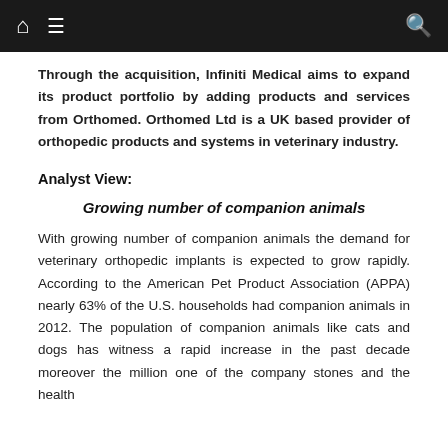Through the acquisition, Infiniti Medical aims to expand its product portfolio by adding products and services from Orthomed. Orthomed Ltd is a UK based provider of orthopedic products and systems in veterinary industry.
Analyst View:
Growing number of companion animals
With growing number of companion animals the demand for veterinary orthopedic implants is expected to grow rapidly. According to the American Pet Product Association (APPA) nearly 63% of the U.S. households had companion animals in 2012. The population of companion animals like cats and dogs has witness a rapid increase in the past decade moreover the million one of the company stones and the health